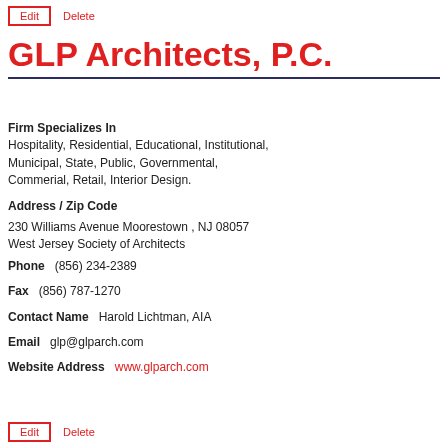Edit   Delete
GLP Architects, P.C.
Firm Specializes In
Hospitality, Residential, Educational, Institutional, Municipal, State, Public, Governmental, Commerial, Retail, Interior Design.
Address / Zip Code
230 Williams Avenue Moorestown , NJ 08057
West Jersey Society of Architects
Phone   (856) 234-2389
Fax   (856) 787-1270
Contact Name   Harold Lichtman, AIA
Email   glp@glparch.com
Website Address   www.glparch.com
Edit   Delete